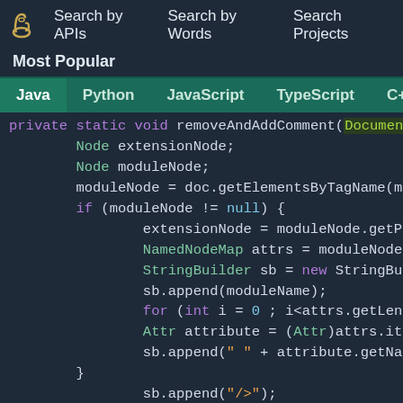Search by APIs   Search by Words   Search Projects
Most Popular
Java | Python | JavaScript | TypeScript | C++ | Scala
private static void removeAndAddComment(Document doc
        Node extensionNode;
        Node moduleNode;
        moduleNode = doc.getElementsByTagName(module
        if (moduleNode != null) {
                extensionNode = moduleNode.getParent
                NamedNodeMap attrs = moduleNode.getA
                StringBuilder sb = new StringBuilde
                sb.append(moduleName);
                for (int i = 0 ; i<attrs.getLength()
                Attr attribute = (Attr)attrs.item(i)
                sb.append(" " + attribute.getName()
        }
                sb.append("/>");

                appendXmlFragment(extensionNode, sb